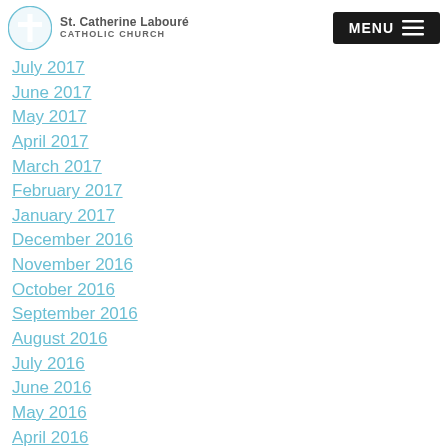St. Catherine Labouré CATHOLIC CHURCH
July 2017
June 2017
May 2017
April 2017
March 2017
February 2017
January 2017
December 2016
November 2016
October 2016
September 2016
August 2016
July 2016
June 2016
May 2016
April 2016
March 2016
February 2016